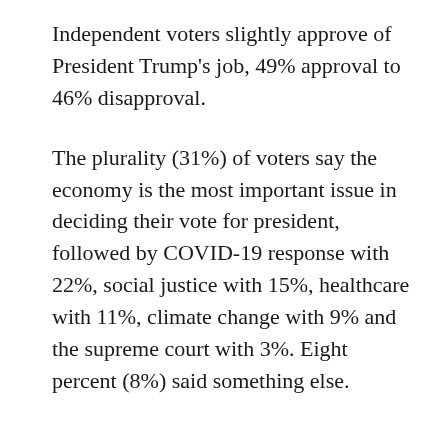Independent voters slightly approve of President Trump's job, 49% approval to 46% disapproval.
The plurality (31%) of voters say the economy is the most important issue in deciding their vote for president, followed by COVID-19 response with 22%, social justice with 15%, healthcare with 11%, climate change with 9% and the supreme court with 3%. Eight percent (8%) said something else.